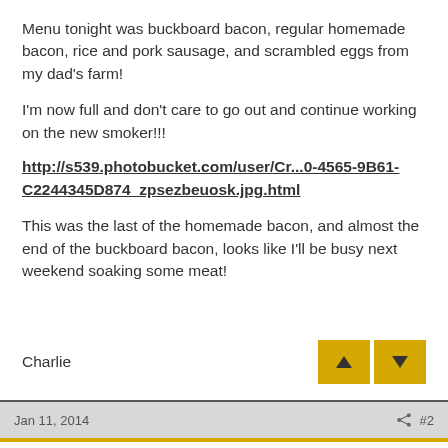Menu tonight was buckboard bacon, regular homemade bacon, rice and pork sausage, and scrambled eggs from my dad's farm!
I'm now full and don't care to go out and continue working on the new smoker!!!
http://s539.photobucket.com/user/Cr...0-4565-9B61-C2244345D874_zpsezbeuosk.jpg.html
This was the last of the homemade bacon, and almost the end of the buckboard bacon, looks like I'll be busy next weekend soaking some meat!
Charlie
Jan 11, 2014  #2